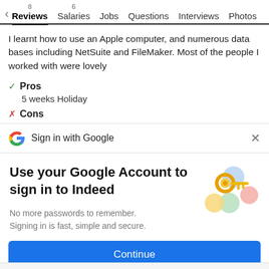< 8 Reviews  6 Salaries  Jobs  Questions  Interviews  Photos
I learnt how to use an Apple computer, and numerous data bases including NetSuite and FileMaker. Most of the people I worked with were lovely
✓ Pros  5 weeks Holiday
✗ Cons
Sign in with Google
Use your Google Account to sign in to Indeed

No more passwords to remember.
Signing in is fast, simple and secure.
Continue